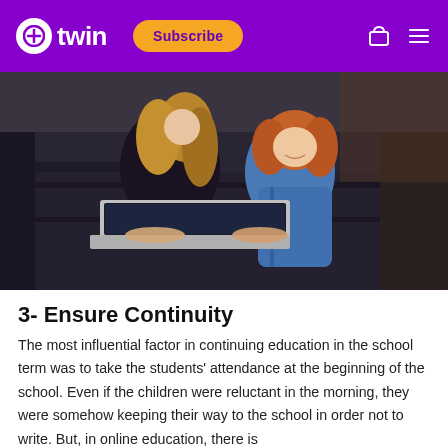etwin | Subscribe
[Figure (photo): A woman and a young red-haired girl sitting together, smiling and using a laptop computer.]
3- Ensure Continuity
The most influential factor in continuing education in the school term was to take the students' attendance at the beginning of the school. Even if the children were reluctant in the morning, they were somehow keeping their way to the school in order not to write. But, in online education, there is